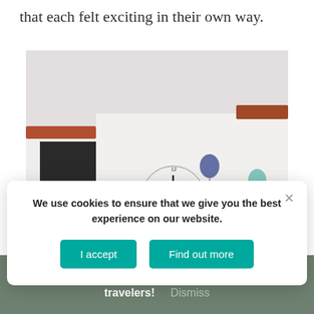that each felt exciting in their own way.
[Figure (photo): Photograph of a white Mediterranean/Spanish-style building facade with a large clock, yellow trim, decorative tile work, wrought iron balconies, and colorful balloons against a pale sky.]
We use cookies to ensure that we give you the best experience on our website.
I accept
Find out more
Check out my new membership based community for travelers!   Dismiss